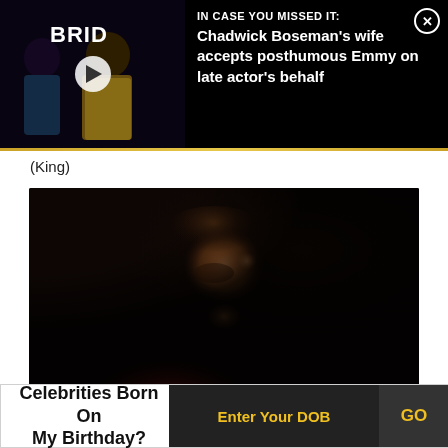[Figure (screenshot): News banner overlay: video thumbnail showing two people at an event (woman in teal dress, man in gold jacket) with BRID text visible and a play button. Headline reads: IN CASE YOU MISSED IT: Chadwick Boseman's wife accepts posthumous Emmy on late actor's behalf. Black background with close X button.]
(King)
[Figure (illustration): Dark oil painting style portrait of a bearded man with curly hair looking to the right, wearing a red garment. Dark background, Rembrandt-like style.]
Celebrities Born On My Birthday?
Enter Your DOB
GO